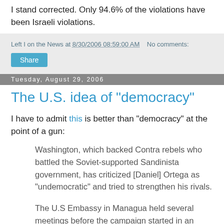I stand corrected. Only 94.6% of the violations have been Israeli violations.
Left I on the News at 8/30/2006 08:59:00 AM    No comments:
Share
Tuesday, August 29, 2006
The U.S. idea of "democracy"
I have to admit this is better than "democracy" at the point of a gun:
Washington, which backed Contra rebels who battled the Soviet-supported Sandinista government, has criticized [Daniel] Ortega as "undemocratic" and tried to strengthen his rivals.
The U.S Embassy in Managua held several meetings before the campaign started in an